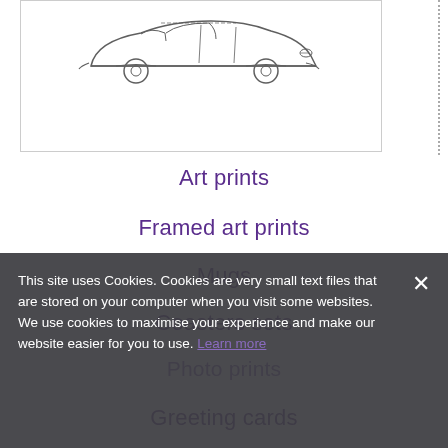[Figure (illustration): Pencil sketch of a vintage car (automobile), shown in a white bordered box with a dotted vertical line on the right edge.]
Art prints
Framed art prints
Mugs
Coasters sets
Photo prints
Greeting cards
This site uses Cookies. Cookies are very small text files that are stored on your computer when you visit some websites. We use cookies to maximise your experience and make our website easier for you to use.